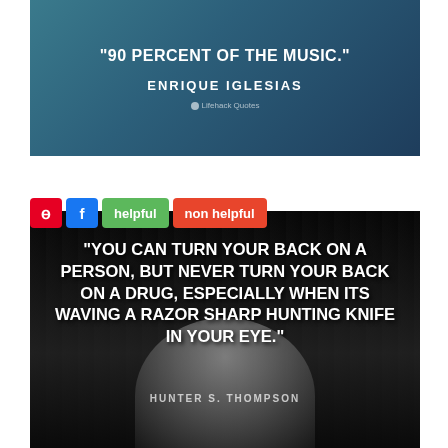[Figure (illustration): Quote image with teal/blue gradient background. Text reads: '90 PERCENT OF THE MUSIC.' attributed to ENRIQUE IGLESIAS with Lifehack Quotes watermark.]
[Figure (photo): Black and white photo of Hunter S. Thompson with overlaid quote text: 'YOU CAN TURN YOUR BACK ON A PERSON, BUT NEVER TURN YOUR BACK ON A DRUG, ESPECIALLY WHEN ITS WAVING A RAZOR SHARP HUNTING KNIFE IN YOUR EYE.' Social share buttons (Pinterest, Facebook, helpful, non helpful) appear above.]